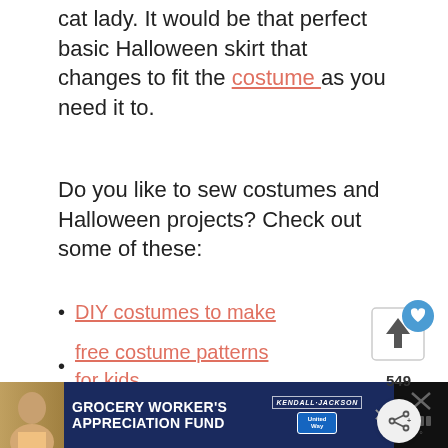cat lady. It would be that perfect basic Halloween skirt that changes to fit the costume as you need it to.
Do you like to sew costumes and Halloween projects? Check out some of these:
DIY costumes to make
free costume patterns for kids
DIY spiderweb table topper
Halloween sewing projects
[Figure (screenshot): Social sharing widget with heart/save button (549 saves) and share button]
[Figure (screenshot): What's Next panel showing thumbnail and text: DIY Faux Fur Tree Skirt]
[Figure (photo): Partial photo of a person outdoors with greenery in background]
[Figure (screenshot): Advertisement banner: Grocery Worker's Appreciation Fund with Kendall-Jackson and United Way logos]